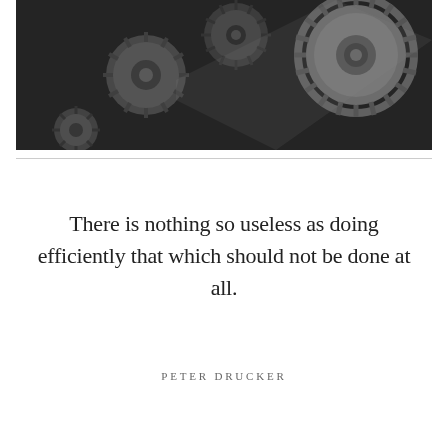[Figure (photo): Black and white photograph of interlocking mechanical gears and cogs, industrial machinery close-up.]
There is nothing so useless as doing efficiently that which should not be done at all.
PETER DRUCKER